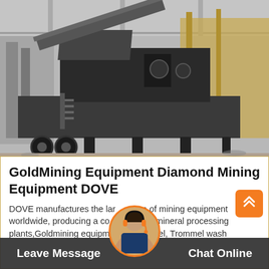[Figure (photo): Industrial mining equipment (large mobile crusher/processing machine on a flatbed truck frame) inside a factory/warehouse. The machine is dark grey/black with yellow accents visible in the background. Concrete floor, metal roof structure visible overhead.]
GoldMining Equipment Diamond Mining Equipment DOVE
DOVE manufactures the largest range of mining equipment worldwide, producing a complete range of mineral processing plants, Goldmining equipment and Trommel, Trommel wash
Leave Message   Chat Online